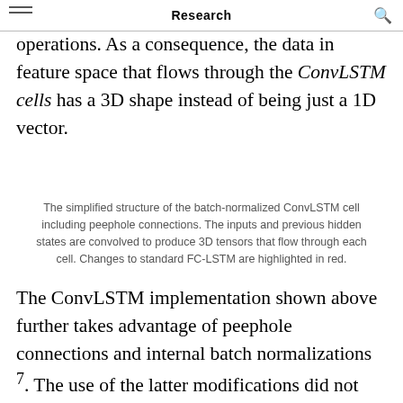Research
operations. As a consequence, the data in feature space that flows through the ConvLSTM cells has a 3D shape instead of being just a 1D vector.
The simplified structure of the batch-normalized ConvLSTM cell including peephole connections. The inputs and previous hidden states are convolved to produce 3D tensors that flow through each cell. Changes to standard FC-LSTM are highlighted in red.
The ConvLSTM implementation shown above further takes advantage of peephole connections and internal batch normalizations 7. The use of the latter modifications did not show any improvements, but had a negative effect on the overall training performance; hence these have not been used in the final evaluation.